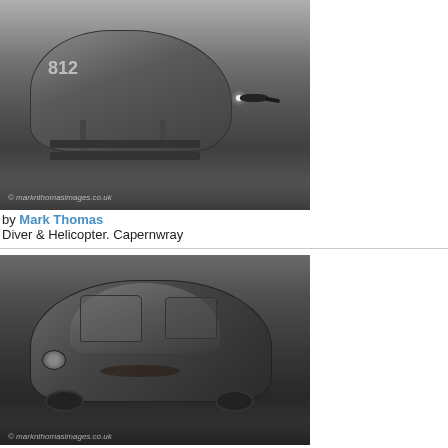[Figure (photo): Black and white underwater photograph of a helicopter wreck (numbered 812) with a scuba diver in the background, taken at Capernwray. Watermark: marknthomasimages.co.uk]
by Mark Thomas
Diver & Helicopter. Capernwray
[Figure (photo): Black and white underwater photograph of a sunken Volkswagen Beetle car wreck at Capernwray. Watermark: marknthomasimages.co.uk]